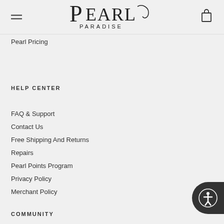Pearl Paradise
Pearl Pricing
HELP CENTER
FAQ & Support
Contact Us
Free Shipping And Returns
Repairs
Pearl Points Program
Privacy Policy
Merchant Policy
COMMUNITY